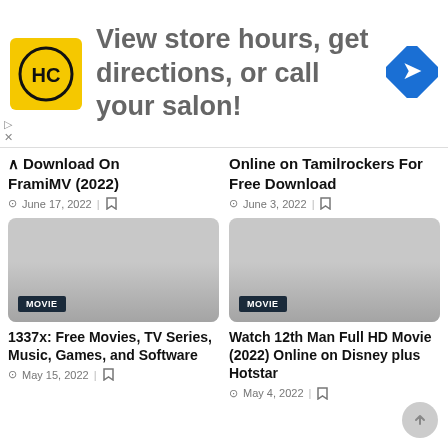[Figure (infographic): Advertisement banner: HC salon logo, text 'View store hours, get directions, or call your salon!', navigation arrow icon]
Download On FramiMV (2022)
June 17, 2022
Online on Tamilrockers For Free Download
June 3, 2022
[Figure (photo): Movie card thumbnail with MOVIE badge label, grey gradient image]
1337x: Free Movies, TV Series, Music, Games, and Software
May 15, 2022
[Figure (photo): Movie card thumbnail with MOVIE badge label, grey gradient image]
Watch 12th Man Full HD Movie (2022) Online on Disney plus Hotstar
May 4, 2022